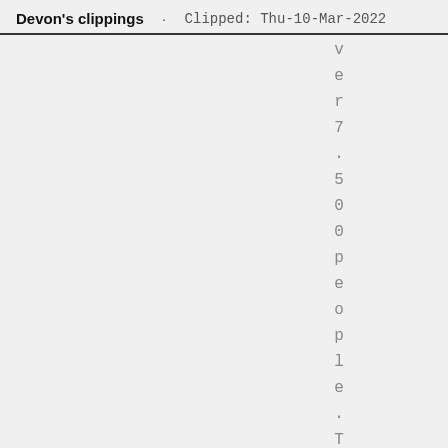Devon's clippings · Clipped: Thu-10-Mar-2022
ver 7.500people. Th